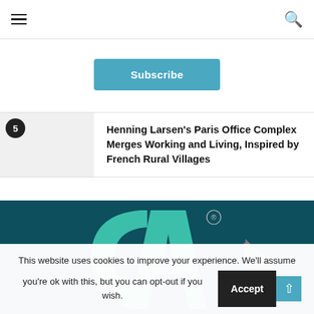Navigation header with hamburger menu and search icon
Subscribe
5 Henning Larsen's Paris Office Complex Merges Working and Living, Inspired by French Rural Villages
[Figure (logo): Dark teal background with CA logo (teal C and A letters with registered trademark symbol) and geometric triangular arrow shape in gray and yellow/gold]
This website uses cookies to improve your experience. We'll assume you're ok with this, but you can opt-out if you wish. Accept